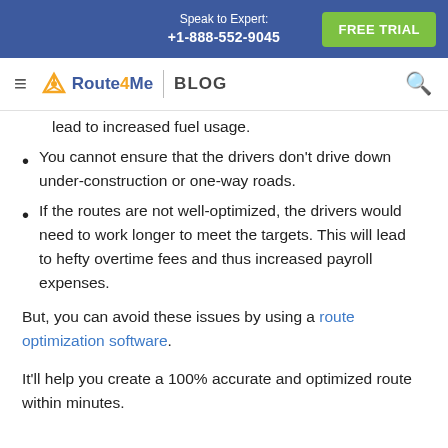Speak to Expert: +1-888-552-9045 | FREE TRIAL
Route4Me | BLOG
lead to increased fuel usage.
You cannot ensure that the drivers don't drive down under-construction or one-way roads.
If the routes are not well-optimized, the drivers would need to work longer to meet the targets. This will lead to hefty overtime fees and thus increased payroll expenses.
But, you can avoid these issues by using a route optimization software.
It'll help you create a 100% accurate and optimized route within minutes.